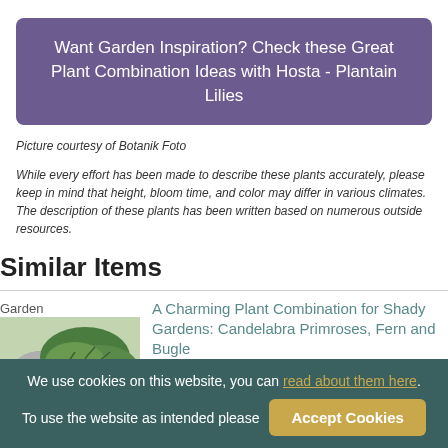Want Garden Inspiration? Check these Great Plant Combination Ideas with Hosta - Plantain Lilies
Picture courtesy of Botanik Foto
While every effort has been made to describe these plants accurately, please keep in mind that height, bloom time, and color may differ in various climates. The description of these plants has been written based on numerous outside resources.
Similar Items
Garden
[Figure (photo): A shady garden scene with ferns, pink flowers and a stone]
A Charming Plant Combination for Shady Gardens: Candelabra Primroses, Fern and Bugle
An easy and remarkable scenery to enjoy in
We use cookies on this website, you can read about them here. To use the website as intended please Accept Cookies